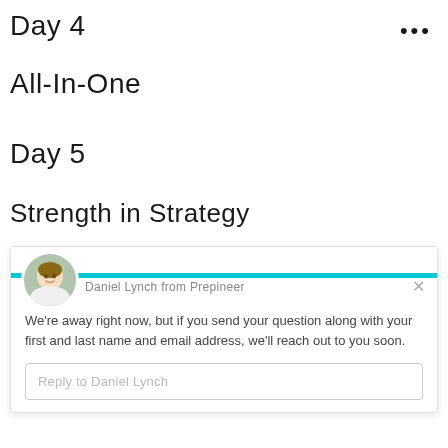Day 4
All-In-One
Day 5
Strength in Strategy
[Figure (screenshot): Chat widget with avatar of Daniel Lynch from Prepineer, cyan horizontal line, close button, message about being away, and reply input box]
We're away right now, but if you send your question along with your first and last name and email address, we'll reach out to you soon.
Reply to Daniel Lynch